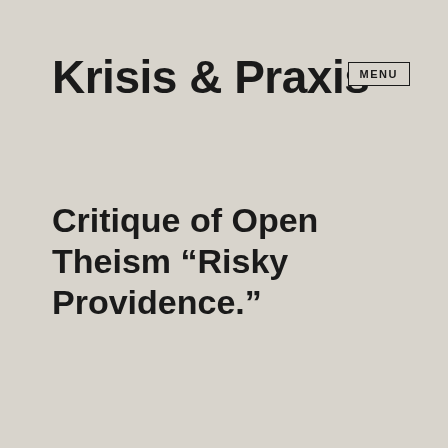Krisis & Praxis
MENU
Critique of Open Theism “Risky Providence.”